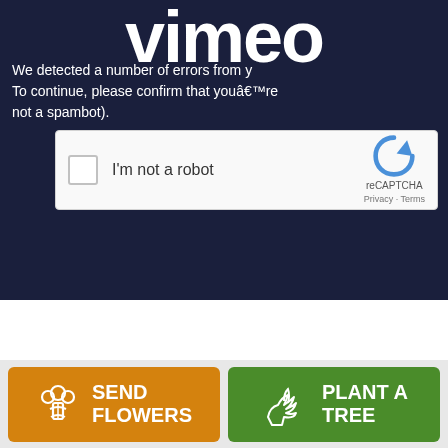[Figure (screenshot): Vimeo logo overlaid on dark navy background with error/captcha page]
We detected a number of errors from y... To continue, please confirm that youâ€™re not a spambot).
[Figure (screenshot): reCAPTCHA widget with checkbox labeled I'm not a robot]
In lieu of flowers please make donations to Pickens
[Figure (infographic): Two buttons: orange SEND FLOWERS button with flower icon, and green PLANT A TREE button with plant icon]